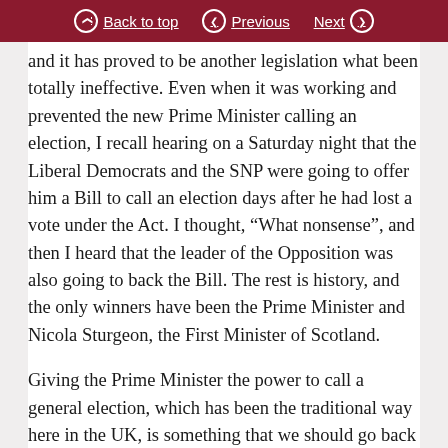Back to top | Previous | Next
and it has proved to be another legislation what been totally ineffective. Even when it was working and prevented the new Prime Minister calling an election, I recall hearing on a Saturday night that the Liberal Democrats and the SNP were going to offer him a Bill to call an election days after he had lost a vote under the Act. I thought, “What nonsense”, and then I heard that the leader of the Opposition was also going to back the Bill. The rest is history, and the only winners have been the Prime Minister and Nicola Sturgeon, the First Minister of Scotland.

Giving the Prime Minister the power to call a general election, which has been the traditional way here in the UK, is something that we should go back to. For an election, it is a real given about the prime